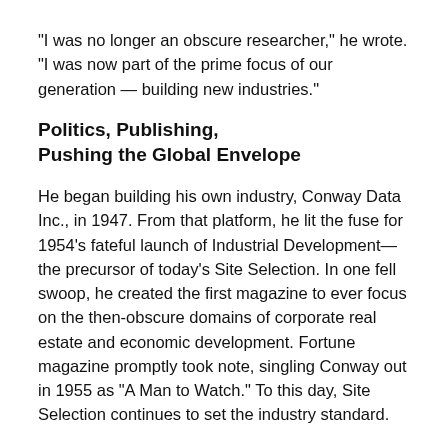"I was no longer an obscure researcher," he wrote. "I was now part of the prime focus of our generation — building new industries."
Politics, Publishing, Pushing the Global Envelope
He began building his own industry, Conway Data Inc., in 1947. From that platform, he lit the fuse for 1954's fateful launch of Industrial Development— the precursor of today's Site Selection. In one fell swoop, he created the first magazine to ever focus on the then-obscure domains of corporate real estate and economic development. Fortune magazine promptly took note, singling Conway out in 1955 as "A Man to Watch." To this day, Site Selection continues to set the industry standard.
By the 1960s, he'd expanded into politics, serving in the Georgia Senate alongside another son of the rural South, Jimmy Carter. Sen. Conway led the effort to establish Atlanta's mass transit system, MARTA, which became a